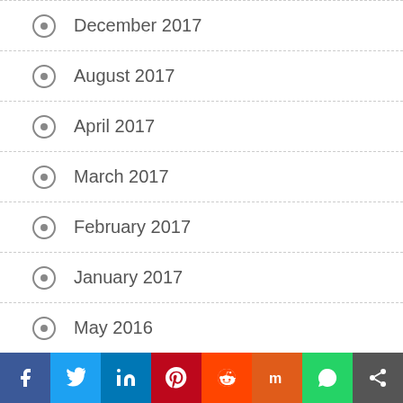December 2017
August 2017
April 2017
March 2017
February 2017
January 2017
May 2016
April 2016
December 2015